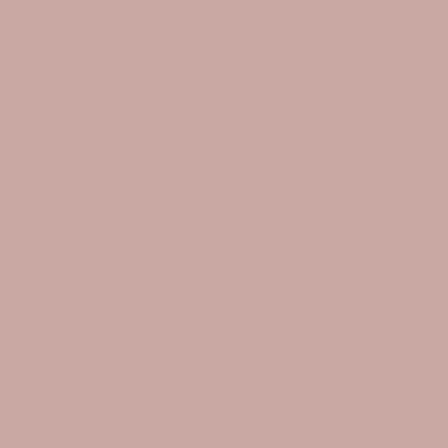[Figure (illustration): Left portion of the page filled with a muted rose/mauve colored background panel]
to the gift of the grace of God given unto me by the effectual working